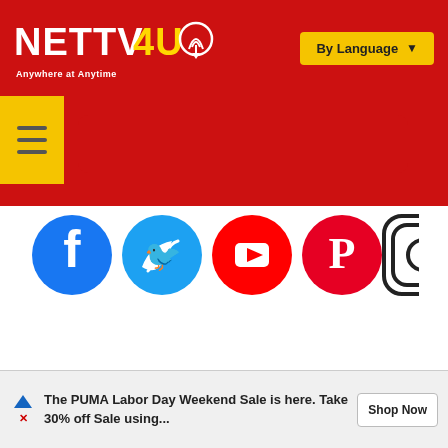[Figure (logo): NETTV4U logo with red background and tagline 'Anywhere at Anytime']
[Figure (screenshot): By Language dropdown button in yellow]
[Figure (screenshot): Yellow hamburger menu button]
[Figure (infographic): Social media icons row: Facebook, Twitter, YouTube, Pinterest, Instagram]
The PUMA Labor Day Weekend Sale is here. Take 30% off Sale using...
Shop Now